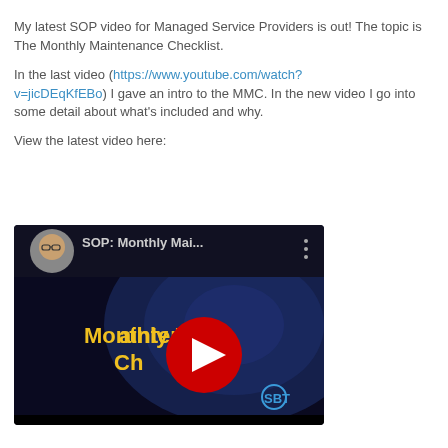My latest SOP video for Managed Service Providers is out! The topic is The Monthly Maintenance Checklist.

In the last video (https://www.youtube.com/watch?v=jicDEqKfEBo) I gave an intro to the MMC. In the new video I go into some detail about what's included and why.

View the latest video here:
[Figure (screenshot): YouTube video thumbnail showing a man with glasses in a circular avatar, title 'SOP: Monthly Mai...' with three-dot menu, dark blue background with 'Monthly Maintenance Checklist' text in yellow, large YouTube play button in center, SBT logo in bottom right corner]